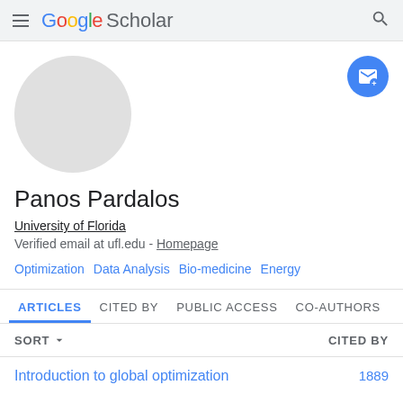Google Scholar
[Figure (illustration): Gray circular avatar placeholder (no photo)]
[Figure (illustration): Blue circular follow/email button with envelope icon]
Panos Pardalos
University of Florida
Verified email at ufl.edu - Homepage
Optimization
Data Analysis
Bio-medicine
Energy
ARTICLES   CITED BY   PUBLIC ACCESS   CO-AUTHORS
SORT ▾   CITED BY
Introduction to global optimization   1889